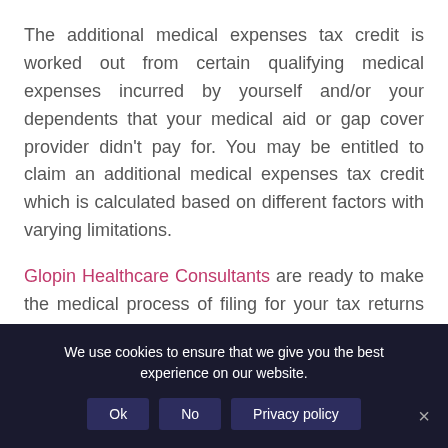The additional medical expenses tax credit is worked out from certain qualifying medical expenses incurred by yourself and/or your dependents that your medical aid or gap cover provider didn't pay for. You may be entitled to claim an additional medical expenses tax credit which is calculated based on different factors with varying limitations.
Glopin Healthcare Consultants are ready to make the medical process of filing for your tax returns stress-free.
Contact us for assistance to obtain your tax certificate which...
We use cookies to ensure that we give you the best experience on our website.